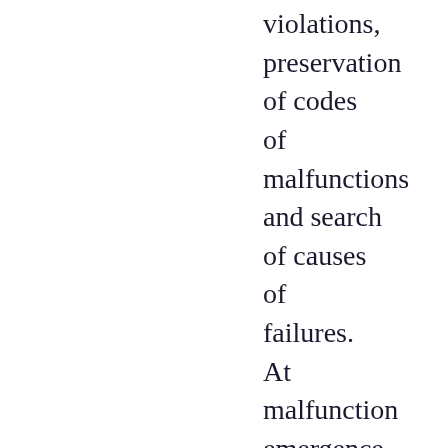violations, preservation of codes of malfunctions and search of causes of failures. At malfunction emergence the module of management writes down in the processor